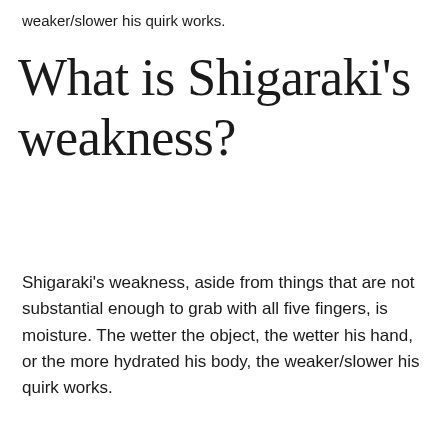weaker/slower his quirk works.
What is Shigaraki's weakness?
Shigaraki's weakness, aside from things that are not substantial enough to grab with all five fingers, is moisture. The wetter the object, the wetter his hand, or the more hydrated his body, the weaker/slower his quirk works.